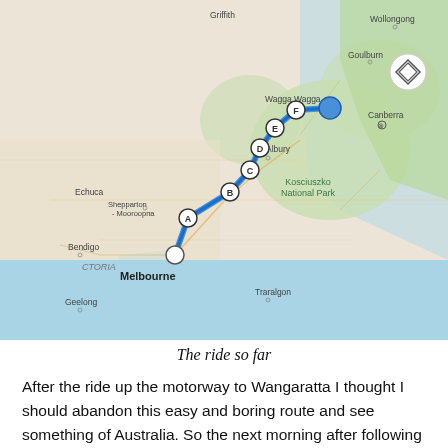[Figure (map): Google Maps route map showing a route from Melbourne (start, white circle marker) through waypoints A, B, C, D, E, F and ending near Wagga Wagga (blue destination marker). The route is marked with a blue line passing through Victoria and New South Wales, Australia. Geographic labels visible include Griffith, Wollongong, Goulburn, Wagga Wagga, Canberra, Echuca, Shepparton-Mooroopna, Albury, Kosciuszko National Park, Bendigo, VICTORIA, Geelong, Melbourne, and Traralgon. A layer control button appears in the upper right.]
The ride so far
After the ride up the motorway to Wangaratta I thought I should abandon this easy and boring route and see something of Australia. So the next morning after following Master Blake's